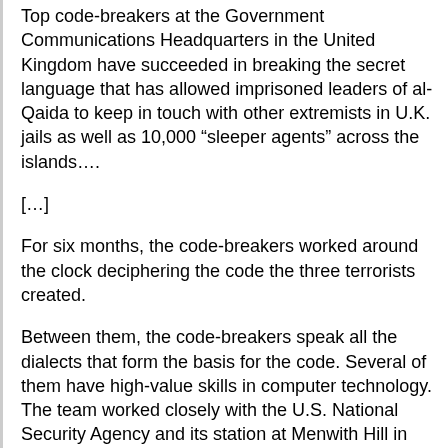Top code-breakers at the Government Communications Headquarters in the United Kingdom have succeeded in breaking the secret language that has allowed imprisoned leaders of al-Qaida to keep in touch with other extremists in U.K. jails as well as 10,000 “sleeper agents” across the islands….
[...]
For six months, the code-breakers worked around the clock deciphering the code the three terrorists created.
Between them, the code-breakers speak all the dialects that form the basis for the code. Several of them have high-value skills in computer technology. The team worked closely with the U.S. National Security Agency and its station at Menwith Hill in the north of England. The identity of the code-breakers is so secret that not even their gender can be revealed.
“Like all good codes, the one they broke depended on substituting words, numbers or symbols for plain text. A single symbol could represent an idea or an entire message,” said an intelligence source.